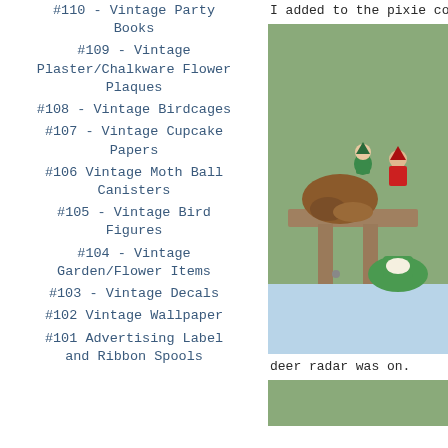#110 - Vintage Party Books
#109 - Vintage Plaster/Chalkware Flower Plaques
#108 - Vintage Birdcages
#107 - Vintage Cupcake Papers
#106 Vintage Moth Ball Canisters
#105 - Vintage Bird Figures
#104 - Vintage Garden/Flower Items
#103 - Vintage Decals
#102 Vintage Wallpaper
#101 Advertising Label and Ribbon Spools
I added to the pixie count
[Figure (photo): Vintage ceramic pixie/elf figurines sitting on a wooden shelf or pedestal against a sage green wall. Brown driftwood-like ceramic piece, green and red elf figurines, and a green ceramic shoe/boot planter.]
deer radar was on.
[Figure (photo): Partial view of a sage green background, bottom of page.]